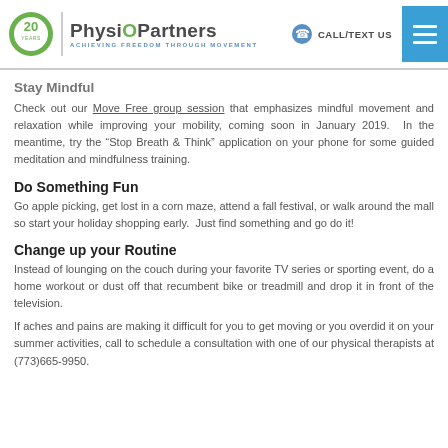PhysioPartners — ACHIEVING FREEDOM THROUGH MOVEMENT | CALL/TEXT US
Stay Mindful
Check out our Move Free group session that emphasizes mindful movement and relaxation while improving your mobility, coming soon in January 2019.  In the meantime, try the "Stop Breath & Think" application on your phone for some guided meditation and mindfulness training.
Do Something Fun
Go apple picking, get lost in a corn maze, attend a fall festival, or walk around the mall so start your holiday shopping early.  Just find something and go do it!
Change up your Routine
Instead of lounging on the couch during your favorite TV series or sporting event, do a home workout or dust off that recumbent bike or treadmill and drop it in front of the television.
If aches and pains are making it difficult for you to get moving or you overdid it on your summer activities, call to schedule a consultation with one of our physical therapists at (773)665-9950.